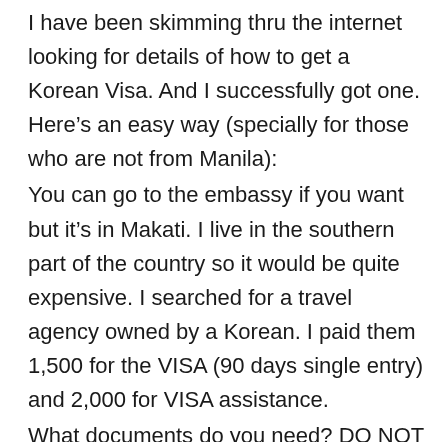I have been skimming thru the internet looking for details of how to get a Korean Visa. And I successfully got one. Here's an easy way (specially for those who are not from Manila):
You can go to the embassy if you want but it's in Makati. I live in the southern part of the country so it would be quite expensive. I searched for a travel agency owned by a Korean. I paid them 1,500 for the VISA (90 days single entry) and 2,000 for VISA assistance.
What documents do you need? DO NOT just submit a photo, passport and the form and an invitation letter (that is if you are invited). These are what agencies usually require. Include your PERSONAL BANK STATEMENT (get it from your bank, costs 100-150), INCOME TAX RETURN, CERTIFICATE OF EMPLOYMENT.